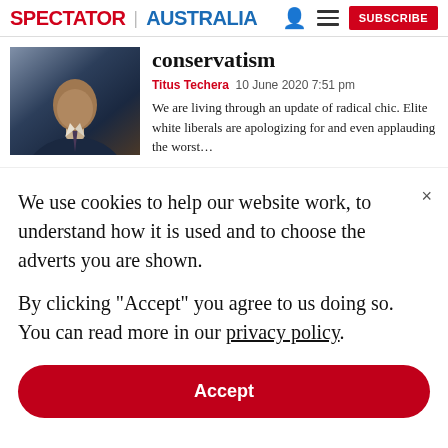SPECTATOR | AUSTRALIA
[Figure (photo): Photo of a man in a dark suit and tie]
conservatism
Titus Techera 10 June 2020 7:51 pm
We are living through an update of radical chic. Elite white liberals are apologizing for and even applauding the worst…
We use cookies to help our website work, to understand how it is used and to choose the adverts you are shown.
By clicking "Accept" you agree to us doing so. You can read more in our privacy policy.